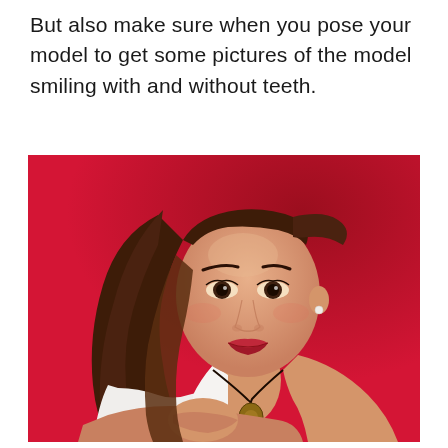But also make sure when you pose your model to get some pictures of the model smiling with and without teeth.
[Figure (photo): A young woman with long brown hair smiling with closed mouth, wearing a white tank top and a pendant necklace, resting her chin on her hand against a vivid red background.]